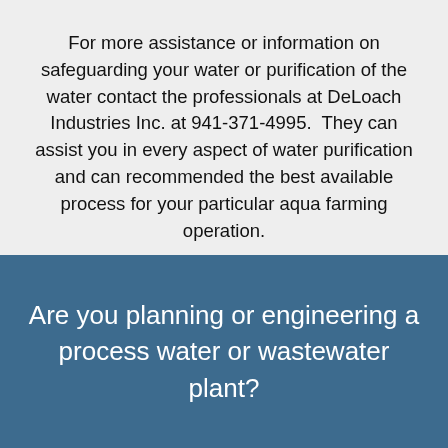For more assistance or information on safeguarding your water or purification of the water contact the professionals at DeLoach Industries Inc. at 941-371-4995.  They can assist you in every aspect of water purification and can recommended the best available process for your particular aqua farming operation.
Are you planning or engineering a process water or wastewater plant?